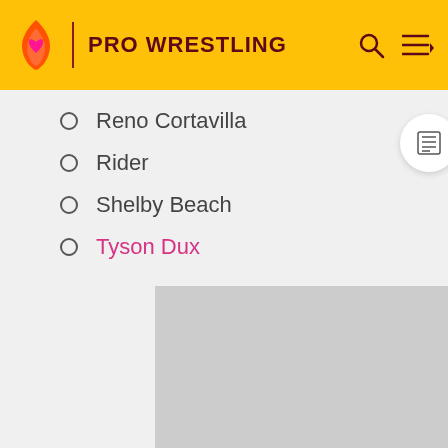PRO WRESTLING
Reno Cortavilla
Rider
Shelby Beach
Tyson Dux
[Figure (photo): Gray placeholder image area below the list]